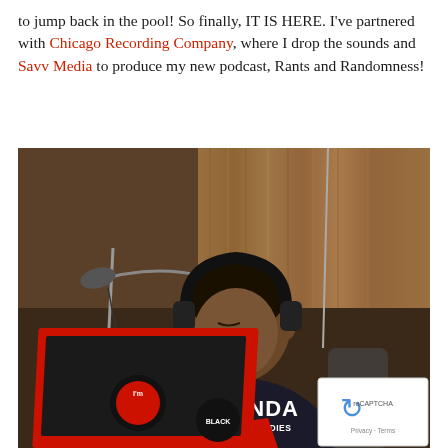to jump back in the pool!  So finally, IT IS HERE. I've partnered with Chicago Recording Company, where I drop the sounds and Savv Media to produce my new podcast, Rants and Randomness!
[Figure (photo): A young woman wearing headphones and a Wakanda sweatshirt sits at a microphone stand in a recording studio, looking at a red laptop. A reCAPTCHA widget is visible in the bottom-right corner of the image.]